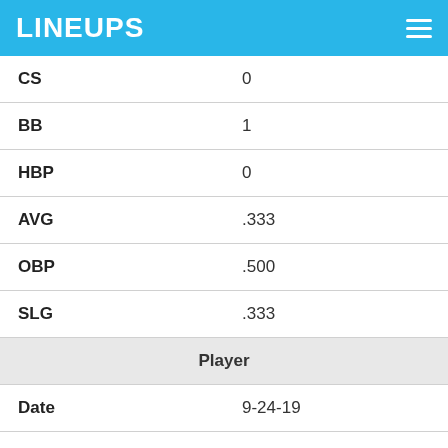LINEUPS
| CS | 0 |
| BB | 1 |
| HBP | 0 |
| AVG | .333 |
| OBP | .500 |
| SLG | .333 |
| Player |  |
| Date | 9-24-19 |
| OPP | at TOR |
| Score | W 11-4 |
| OPPOSING SP | Thomas Pannone |
| Fantasy Points |  |
| FPTS | 27.7 |